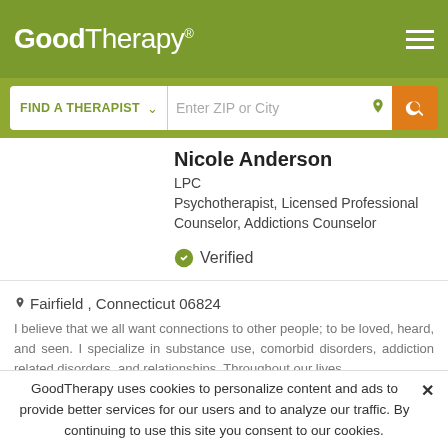GoodTherapy®
FIND A THERAPIST   Enter ZIP or City
Nicole Anderson
LPC
Psychotherapist, Licensed Professional Counselor, Addictions Counselor
✔ Verified
Fairfield , Connecticut 06824
I believe that we all want connections to other people; to be loved, heard, and seen. I specialize in substance use, comorbid disorders, addiction related disorders, and relationships. Throughout our lives
Email Me   475 330 3101
GoodTherapy uses cookies to personalize content and ads to provide better services for our users and to analyze our traffic. By continuing to use this site you consent to our cookies.